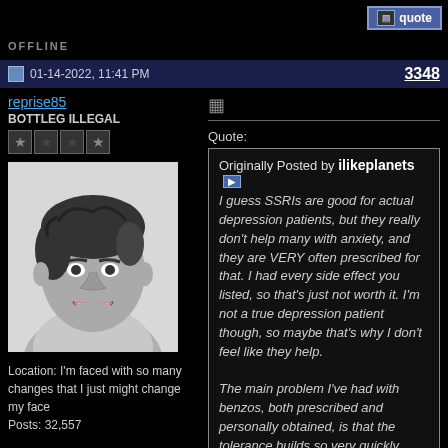quote
OFFLINE
01-14-2022, 11:41 PM   3348
reprise85
BOTTLEG ILLEGAL
Location: I'm faced with so many changes that I just might change my face
Posts: 32,557
[Figure (photo): Black and white portrait photo of a man]
Quote:
Originally Posted by ilikeplanets
I guess SSRIs are good for actual depression patients, but they really don't help many with anxiety, and they are VERY often prescribed for that. I had every side effect you listed, so that's just not worth it. I'm not a true depression patient though, so maybe that's why I don't feel like they help.

The main problem I've had with benzos, both prescribed and personally obtained, is that the tolerance builds so very quickly. What half a pill...